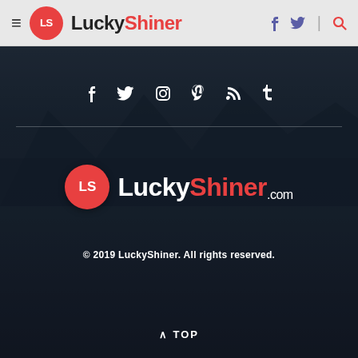≡ LS LuckyShiner [f] [twitter] | [search]
[Figure (screenshot): Dark overlay section with two people from behind holding hats, mountains and lake in background, social media icons row, LuckyShiner.com center logo, copyright text, and TOP button]
© 2019 LuckyShiner. All rights reserved.